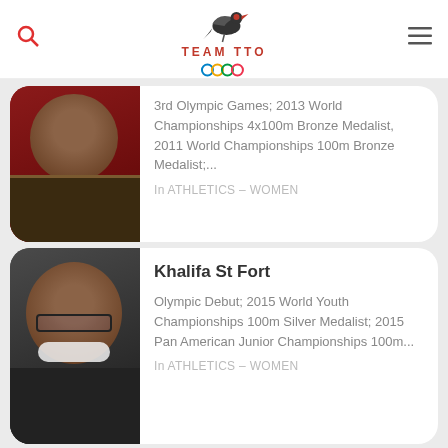TEAM TTO
[Figure (logo): Team TTO logo with bird and Olympic rings]
[Figure (photo): Partial athlete profile card - woman in leopard print, partial text: 3rd Olympic Games; 2013 World Championships 4x100m Bronze Medalist, 2011 World Championships 100m Bronze Medalist;...]
3rd Olympic Games; 2013 World Championships 4x100m Bronze Medalist, 2011 World Championships 100m Bronze Medalist;...
In ATHLETICS – WOMEN
[Figure (photo): Khalifa St Fort profile photo - young woman with glasses smiling]
Khalifa St Fort
Olympic Debut; 2015 World Youth Championships 100m Silver Medalist; 2015 Pan American Junior Championships 100m...
In ATHLETICS – WOMEN
[Figure (photo): Partial third athlete profile photo - bottom of page]